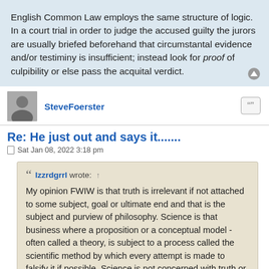English Common Law employs the same structure of logic. In a court trial in order to judge the accused guilty the jurors are usually briefed beforehand that circumstantal evidence and/or testiminy is insufficient; instead look for proof of culpibility or else pass the acquital verdict.
SteveFoerster
Re: He just out and says it.......
Sat Jan 08, 2022 3:18 pm
Izzrdgrrl wrote: ↑
My opinion FWIW is that truth is irrelevant if not attached to some subject, goal or ultimate end and that is the subject and purview of philosophy. Science is that business where a proposition or a conceptual model - often called a theory, is subject to a process called the scientific method by which every attempt is made to falsify it if possible. Science is not concerned with truth or purpose, it is concerned with countering self deception..........